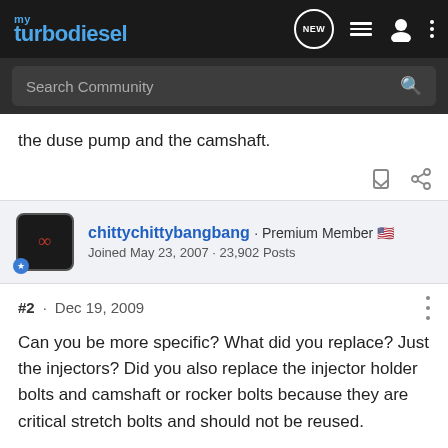myTurbodiesel
the duse pump and the camshaft.
chittychittybangbang · Premium Member
Joined May 23, 2007 · 23,902 Posts
#2 · Dec 19, 2009
Can you be more specific? What did you replace? Just the injectors? Did you also replace the injector holder bolts and camshaft or rocker bolts because they are critical stretch bolts and should not be reused.